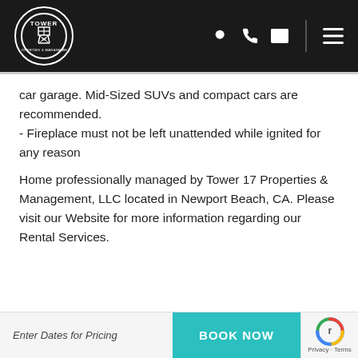Tower 17 Properties & Management — navigation header
car garage. Mid-Sized SUVs and compact cars are recommended.
- Fireplace must not be left unattended while ignited for any reason
Home professionally managed by Tower 17 Properties & Management, LLC located in Newport Beach, CA. Please visit our Website for more information regarding our Rental Services.
Enter Dates for Pricing   BOOK NOW